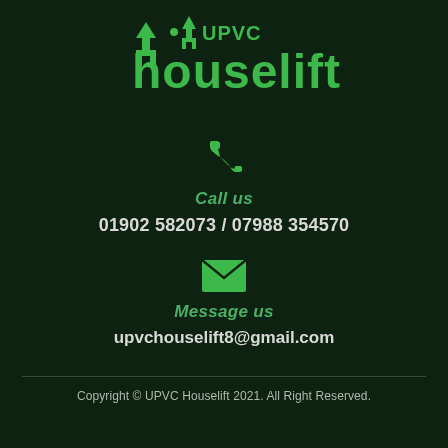[Figure (logo): UPVC Houselift logo with green house/arrow icons and green text reading 'UPVC houselift']
[Figure (illustration): Green telephone handset icon]
Call us
01902 582073 / 07988 354570
[Figure (illustration): Green envelope/message icon]
Message us
upvchouselift8@gmail.com
Copyright © UPVC Houselift 2021. All Right Reserved.